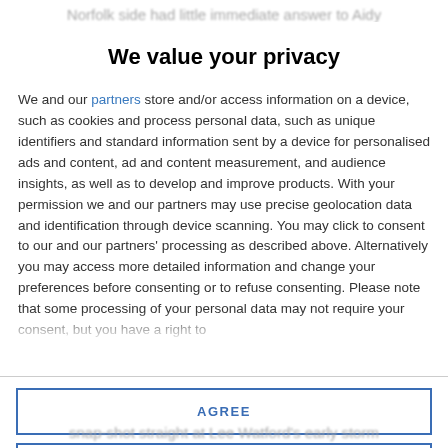Norfolk side had little immediate answer to Aidy
We value your privacy
We and our partners store and/or access information on a device, such as cookies and process personal data, such as unique identifiers and standard information sent by a device for personalised ads and content, ad and content measurement, and audience insights, as well as to develop and improve products. With your permission we and our partners may use precise geolocation data and identification through device scanning. You may click to consent to our and our partners' processing as described above. Alternatively you may access more detailed information and change your preferences before consenting or to refuse consenting. Please note that some processing of your personal data may not require your consent, but you have a right to
AGREE
MORE OPTIONS
snap-shot straight at Lee Watford's early storm